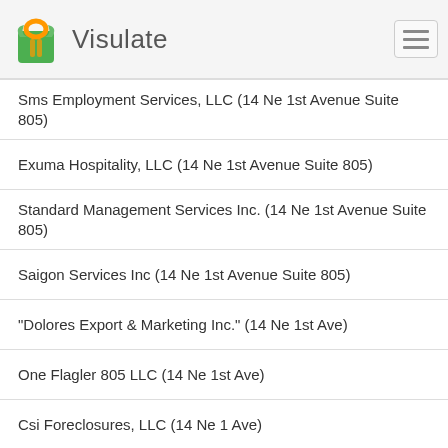Visulate
Sms Employment Services, LLC (14 Ne 1st Avenue Suite 805)
Exuma Hospitality, LLC (14 Ne 1st Avenue Suite 805)
Standard Management Services Inc. (14 Ne 1st Avenue Suite 805)
Saigon Services Inc (14 Ne 1st Avenue Suite 805)
"Dolores Export & Marketing Inc." (14 Ne 1st Ave)
One Flagler 805 LLC (14 Ne 1st Ave)
Csi Foreclosures, LLC (14 Ne 1 Ave)
Reyes Del Mar Jewelers, Inc. (14 Ne 1 Avenue)
One Flagler Condominium Association, Inc. (14 Ne 1st Ave)
First & First Bar LLC (40 Ne 1st Ave)